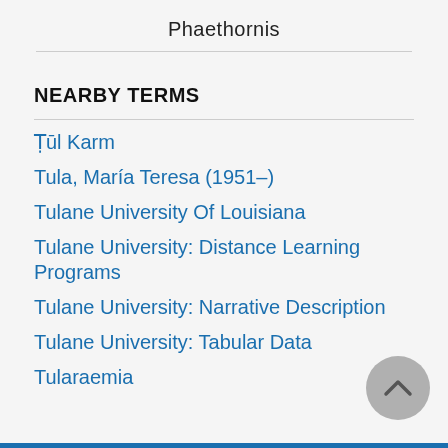Phaethornis
NEARBY TERMS
Ṭūl Karm
Tula, María Teresa (1951–)
Tulane University Of Louisiana
Tulane University: Distance Learning Programs
Tulane University: Narrative Description
Tulane University: Tabular Data
Tularaemia